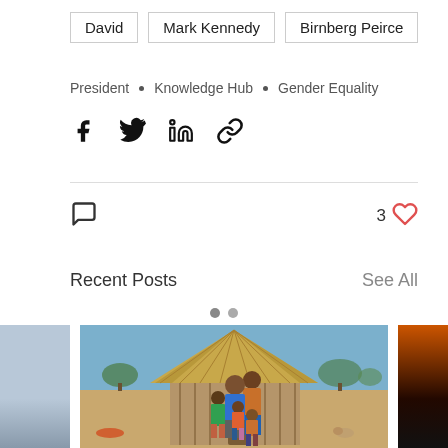David
Mark Kennedy
Birnberg Peirce
President • Knowledge Hub • Gender Equality
[Figure (other): Social share icons: Facebook, Twitter, LinkedIn, Link]
[Figure (other): Comment icon and like count: 3 hearts]
Recent Posts
See All
[Figure (photo): Photo strip showing recent posts: partial left image (sky/landscape), center image of African family with children standing in front of a thatched-roof mud hut in a dry landscape, partial right image with fire/dark scene.]